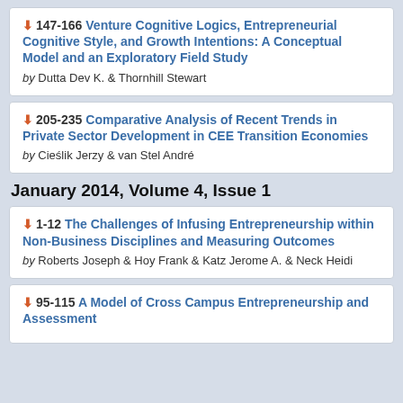147-166 Venture Cognitive Logics, Entrepreneurial Cognitive Style, and Growth Intentions: A Conceptual Model and an Exploratory Field Study by Dutta Dev K. & Thornhill Stewart
205-235 Comparative Analysis of Recent Trends in Private Sector Development in CEE Transition Economies by Cieślik Jerzy & van Stel André
January 2014, Volume 4, Issue 1
1-12 The Challenges of Infusing Entrepreneurship within Non-Business Disciplines and Measuring Outcomes by Roberts Joseph & Hoy Frank & Katz Jerome A. & Neck Heidi
95-115 A Model of Cross Campus Entrepreneurship and Assessment